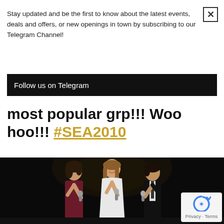Stay updated and be the first to know about the latest events, deals and offers, or new openings in town by subscribing to our Telegram Channel!
Follow us on Telegram
most popular grp!!! Woo hoo!!! #SEA2010
[Figure (photo): Three people on a dark stage holding microphones, appearing to be at an event or awards show. A woman in a maroon dress on the left, a woman in white in the center smiling, and a person in a black blazer on the right.]